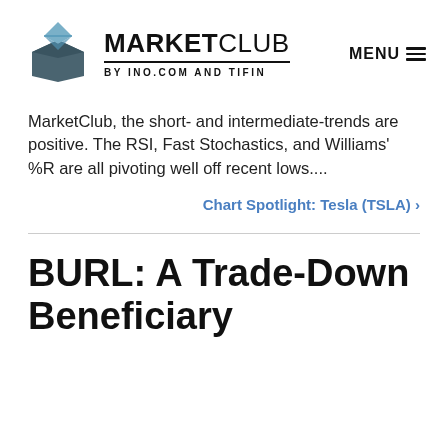[Figure (logo): MarketClub logo — geometric dark teal/grey cube with blue diamond shape on top, beside bold MARKETCLUB text with byline BY INO.COM AND TIFIN]
MarketClub, the short- and intermediate-trends are positive. The RSI, Fast Stochastics, and Williams' %R are all pivoting well off recent lows....
Chart Spotlight: Tesla (TSLA) ›
BURL: A Trade-Down Beneficiary